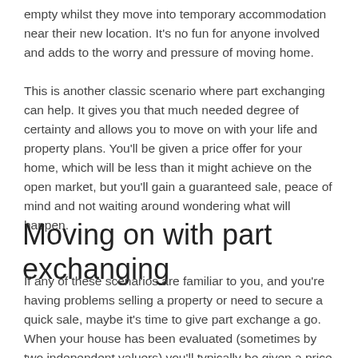empty whilst they move into temporary accommodation near their new location. It's no fun for anyone involved and adds to the worry and pressure of moving home.
This is another classic scenario where part exchanging can help. It gives you that much needed degree of certainty and allows you to move on with your life and property plans. You'll be given a price offer for your home, which will be less than it might achieve on the open market, but you'll gain a guaranteed sale, peace of mind and not waiting around wondering what will happen.
Moving on with part exchanging
If any of these scenarios are familiar to you, and you're having problems selling a property or need to secure a quick sale, maybe it's time to give part exchange a go. When your house has been evaluated (sometimes by two independent valuers) you'll typically be given a price for your property and can